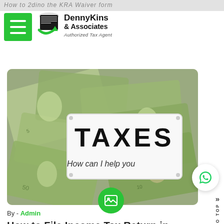How to 2dino the KRA Waiver form
[Figure (logo): DennyKins & Associates Authorized Tax Agent logo with stacked papers icon]
[Figure (photo): Photo of US dollar bills scattered with a white light-box sign reading TAXES and text overlay 'How can I help you']
By - Admin
How to File Income Tax Return in Kenya